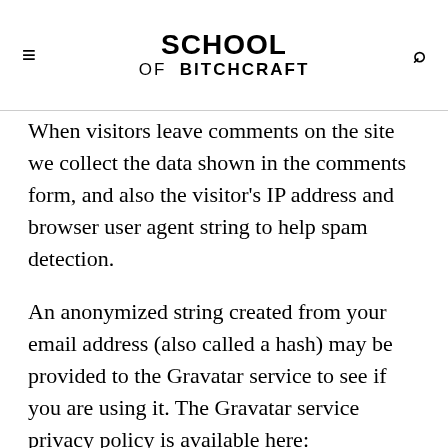SCHOOL OF BITCHCRAFT
When visitors leave comments on the site we collect the data shown in the comments form, and also the visitor's IP address and browser user agent string to help spam detection.
An anonymized string created from your email address (also called a hash) may be provided to the Gravatar service to see if you are using it. The Gravatar service privacy policy is available here: https://automattic.com/privacy/. After approval of your comment, your profile picture is visible to